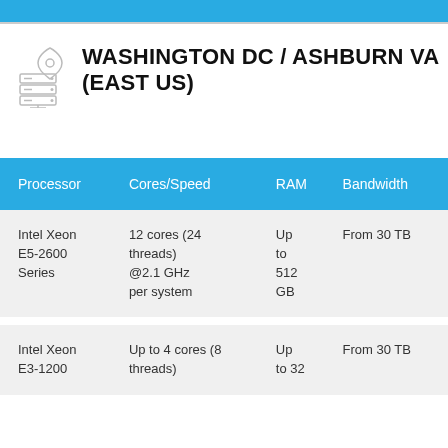WASHINGTON DC / ASHBURN VA (EAST US)
| Processor | Cores/Speed | RAM | Bandwidth |
| --- | --- | --- | --- |
| Intel Xeon E5-2600 Series | 12 cores (24 threads) @2.1 GHz per system | Up to 512 GB | From 30 TB |
| Intel Xeon E3-1200 | Up to 4 cores (8 threads) | Up to 32 | From 30 TB |